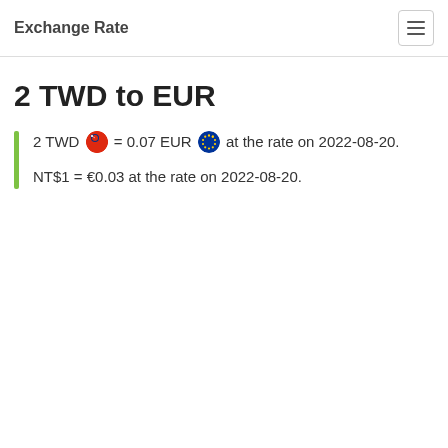Exchange Rate
2 TWD to EUR
2 TWD = 0.07 EUR at the rate on 2022-08-20.
NT$1 = €0.03 at the rate on 2022-08-20.